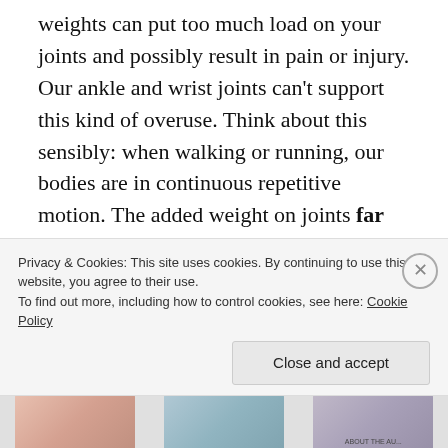weights can put too much load on your joints and possibly result in pain or injury. Our ankle and wrist joints can't support this kind of overuse. Think about this sensibly: when walking or running, our bodies are in continuous repetitive motion. The added weight on joints far from the core of our body is going to further the risk for injury to the shoulders, elbows, hips and knees due to overuse and strain. Specifically, wearing weight on your ankles could cause you to alter your cadence, creating muscle tension or imbalances. Be smart and when you want to add intensity, simply add hills, stairs or speed to your walks and runs.
Privacy & Cookies: This site uses cookies. By continuing to use this website, you agree to their use. To find out more, including how to control cookies, see here: Cookie Policy
Close and accept